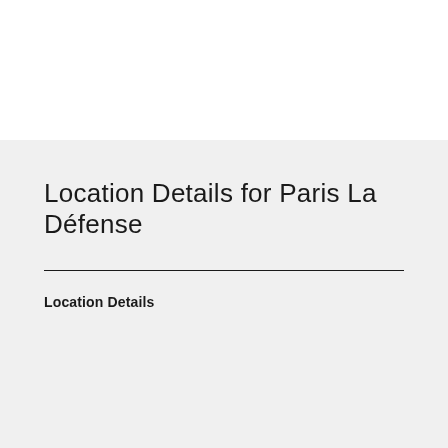Location Details for Paris La Défense
Location Details